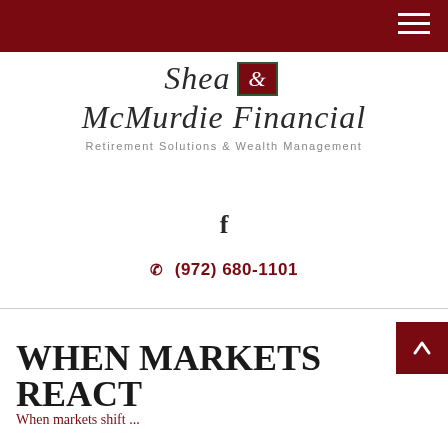Shea & McMurdie Financial – navigation header bar
[Figure (logo): Shea & McMurdie Financial logo with ampersand in dark red box with green border, tagline: Retirement Solutions & Wealth Management]
f
(972) 680-1101
WHEN MARKETS REACT
When markets shift...